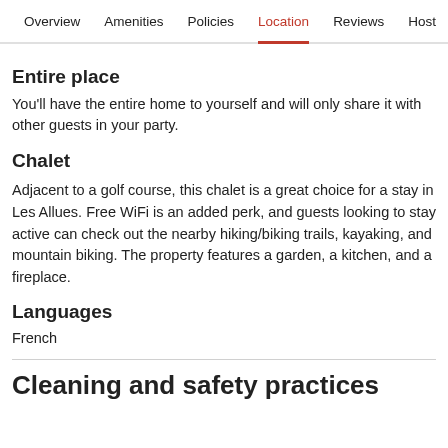Overview  Amenities  Policies  Location  Reviews  Host
Entire place
You'll have the entire home to yourself and will only share it with other guests in your party.
Chalet
Adjacent to a golf course, this chalet is a great choice for a stay in Les Allues. Free WiFi is an added perk, and guests looking to stay active can check out the nearby hiking/biking trails, kayaking, and mountain biking. The property features a garden, a kitchen, and a fireplace.
Languages
French
Cleaning and safety practices